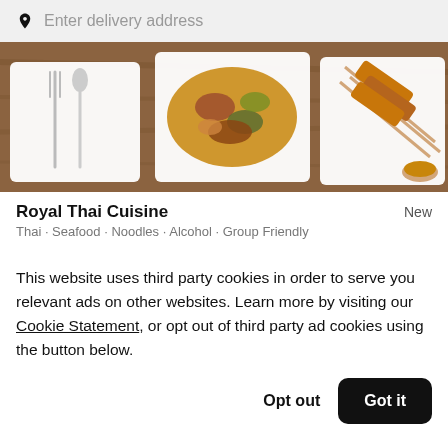Enter delivery address
[Figure (photo): Thai food dishes on a wooden table — plates with stir-fried meat, noodles, satay skewers, and utensils]
Royal Thai Cuisine
New
Thai • Seafood • Noodles • Alcohol • Group Friendly
Top 5 Thai spot, appreciated for offering excellent quality and great value.
This website uses third party cookies in order to serve you relevant ads on other websites. Learn more by visiting our Cookie Statement, or opt out of third party ad cookies using the button below.
Opt out
Got it